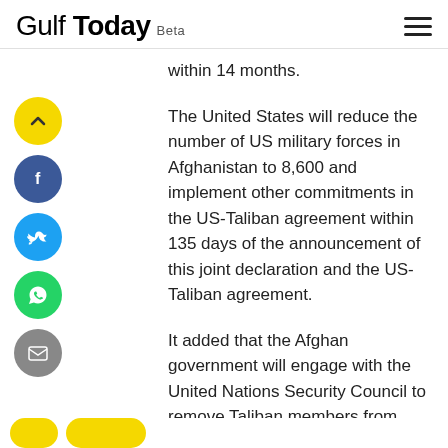Gulf Today Beta
within 14 months.
The United States will reduce the number of US military forces in Afghanistan to 8,600 and implement other commitments in the US-Taliban agreement within 135 days of the announcement of this joint declaration and the US-Taliban agreement.
It added that the Afghan government will engage with the United Nations Security Council to remove Taliban members from sanctions list by May 29.